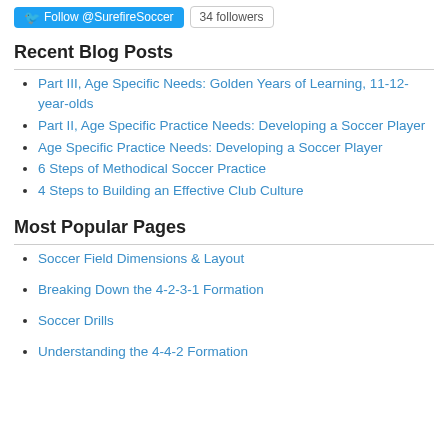[Figure (other): Twitter Follow button for @SurefireSoccer with 34 followers badge]
Recent Blog Posts
Part III, Age Specific Needs: Golden Years of Learning, 11-12-year-olds
Part II, Age Specific Practice Needs: Developing a Soccer Player
Age Specific Practice Needs: Developing a Soccer Player
6 Steps of Methodical Soccer Practice
4 Steps to Building an Effective Club Culture
Most Popular Pages
Soccer Field Dimensions & Layout
Breaking Down the 4-2-3-1 Formation
Soccer Drills
Understanding the 4-4-2 Formation